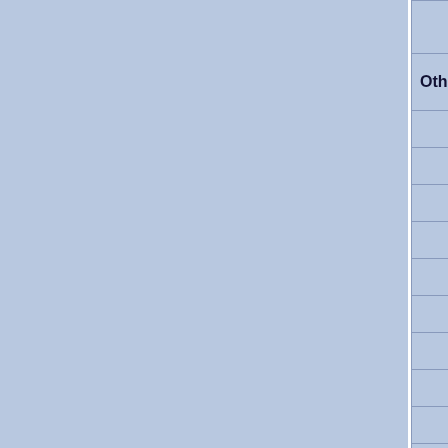| Other mutations in this stock | To... |
| --- | --- |
|  | G |
|  | 4 |
|  | 4 |
|  | 4 |
|  | A |
|  | A |
|  | A |
|  | A |
|  | B |
|  | C |
|  | C |
|  | D |
|  | D |
|  | E |